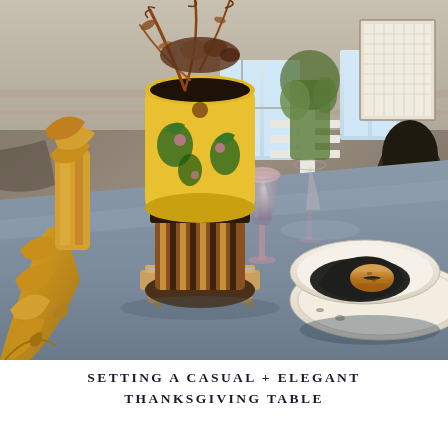[Figure (photo): A close-up photograph of an elegantly set Thanksgiving dinner table. In the foreground on the left is a large ornate golden baroque-style candlestick or decorative pedestal. In the center of the table sits a colorful hand-painted ceramic vase or urn with floral motifs in yellow, green, and brown, with tall dried autumn branches extending upward. A small wooden platform/riser sits beneath the vase. In the right foreground are stacked cream/white plates with a black cloth napkin folded and held by a natural horn napkin ring. A pink glass goblet stands in the center. The table is covered with a grey/blue tablecloth. In the background are windows, plants, and rustic decor including what appears to be a framed calendar or chart on the wall.]
SETTING A CASUAL + ELEGANT
THANKSGIVING TABLE